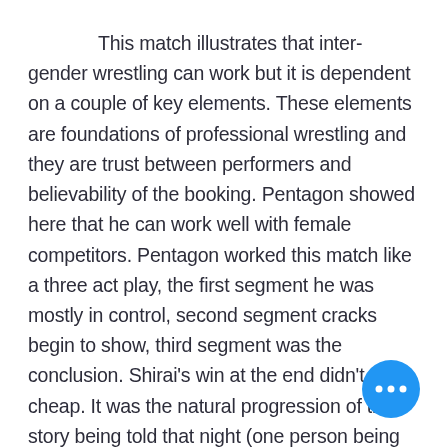This match illustrates that inter-gender wrestling can work but it is dependent on a couple of key elements. These elements are foundations of professional wrestling and they are trust between performers and believability of the booking. Pentagon showed here that he can work well with female competitors. Pentagon worked this match like a three act play, the first segment he was mostly in control, second segment cracks begin to show, third segment was the conclusion. Shirai's win at the end didn't feel cheap. It was the natural progression of the story being told that night (one person being worn down by three).